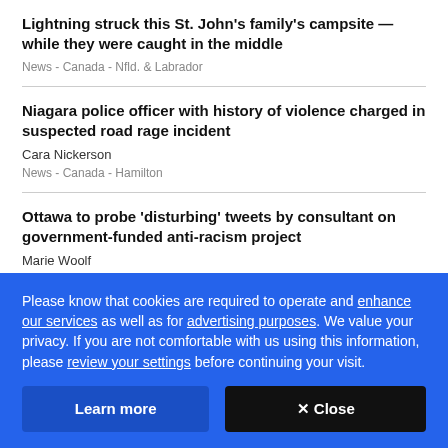Lightning struck this St. John's family's campsite — while they were caught in the middle
News  -  Canada  -  Nfld. & Labrador
Niagara police officer with history of violence charged in suspected road rage incident
Cara Nickerson
News  -  Canada  -  Hamilton
Ottawa to probe 'disturbing' tweets by consultant on government-funded anti-racism project
Marie Woolf
Please know that cookies are required to operate and enhance our services as well as for advertising purposes. We value your privacy. If you are not comfortable with us using this information, please review your settings before continuing your visit.